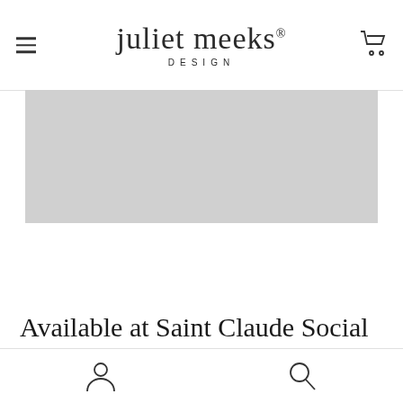juliet meeks DESIGN
[Figure (photo): Gray placeholder image block representing a product or banner photo]
Available at Saint Claude Social
User icon and Search icon navigation